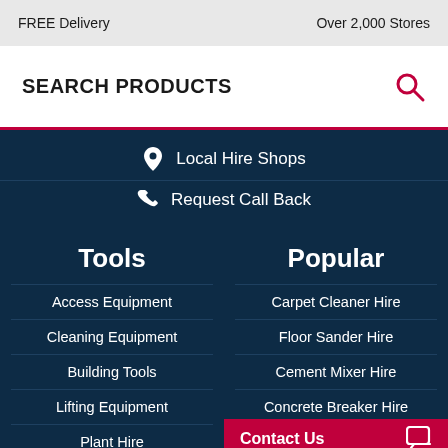FREE Delivery    Over 2,000 Stores
SEARCH PRODUCTS
Local Hire Shops
Request Call Back
Tools
Access Equipment
Cleaning Equipment
Building Tools
Lifting Equipment
Plant Hire
Popular
Carpet Cleaner Hire
Floor Sander Hire
Cement Mixer Hire
Concrete Breaker Hire
Contact Us